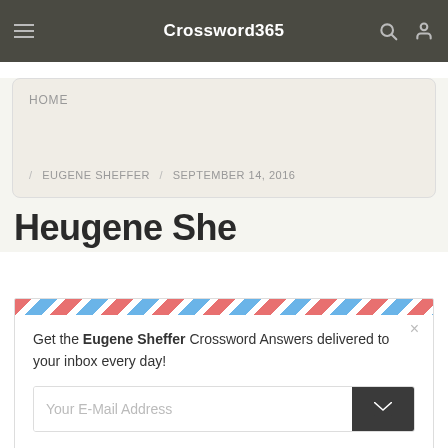Crossword365
HOME
/ EUGENE SHEFFER / SEPTEMBER 14, 2016
[Figure (screenshot): Airmail-styled email subscription modal overlay. Contains text: 'Get the Eugene Sheffer Crossword Answers delivered to your inbox every day!' with an email input field and send button.]